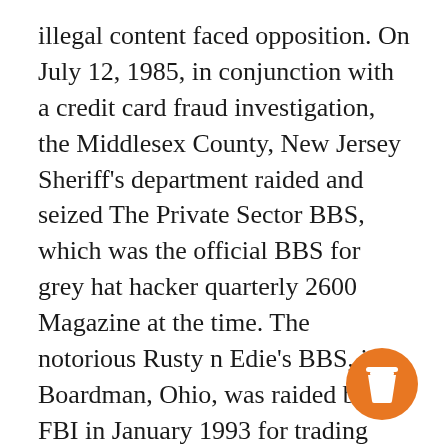illegal content faced opposition. On July 12, 1985, in conjunction with a credit card fraud investigation, the Middlesex County, New Jersey Sheriff's department raided and seized The Private Sector BBS, which was the official BBS for grey hat hacker quarterly 2600 Magazine at the time. The notorious Rusty n Edie's BBS, in Boardman, Ohio, was raided by the FBI in January 1993 for trading unlicensed software, and later sued by Playboy for copyright infringement in November 1997. In Flint, Michigan, a 21-year-old man was charged with distributing child pornography through his BBS in March 1996
[Figure (illustration): Orange circular button with a coffee cup icon (takeaway cup with lid)]